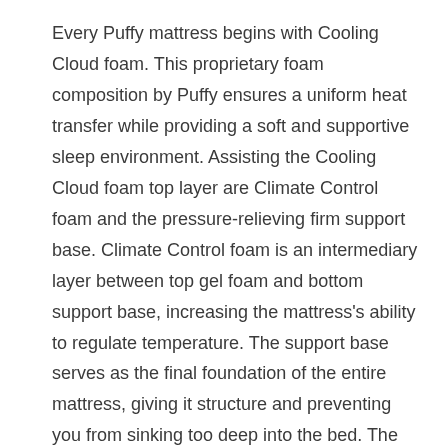Every Puffy mattress begins with Cooling Cloud foam. This proprietary foam composition by Puffy ensures a uniform heat transfer while providing a soft and supportive sleep environment. Assisting the Cooling Cloud foam top layer are Climate Control foam and the pressure-relieving firm support base. Climate Control foam is an intermediary layer between top gel foam and bottom support base, increasing the mattress's ability to regulate temperature. The support base serves as the final foundation of the entire mattress, giving it structure and preventing you from sinking too deep into the bed. The entire mattress was created with temperature regulation, spine alignment, pressure relief and temperature regulation in mind.
The Puffy Lux has an additional layer of foam, the Plush Dual Cloud foam, giving you two extra inches of foam and helping you ease built of tension in your pressure points from a long day out. Both the Puffy Lux, and Original are covered in hypoallergenic and